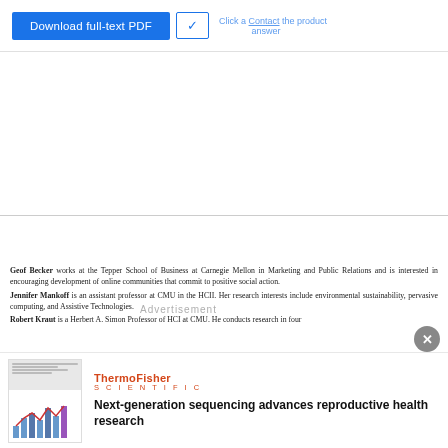[Figure (screenshot): Download full-text PDF button (blue) with dropdown arrow button beside it, and partially visible text to the right]
Geof Becker works at the Tepper School of Business at Carnegie Mellon in Marketing and Public Relations and is interested in encouraging development of online communities that commit to positive social action.
Jennifer Mankoff is an assistant professor at CMU in the HCII. Her research interests include environmental sustainability, pervasive computing, and Assistive Technologies.
Robert Kraut is a Herbert A. Simon Professor of HCI at CMU. He conducts research in four
Advertisement
[Figure (screenshot): ThermoFisher Scientific advertisement thumbnail showing a document with a bar/line chart]
ThermoFisher SCIENTIFIC
Next-generation sequencing advances reproductive health research